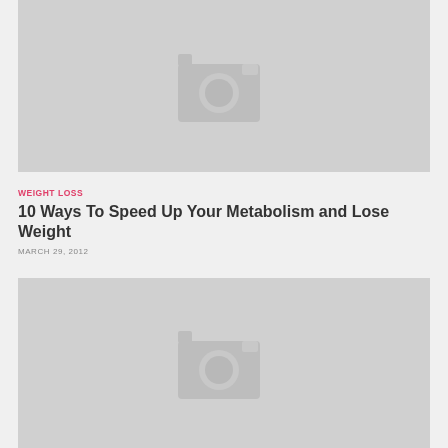[Figure (photo): Placeholder image with camera icon on grey background — top article thumbnail]
WEIGHT LOSS
10 Ways To Speed Up Your Metabolism and Lose Weight
MARCH 29, 2012
[Figure (photo): Placeholder image with camera icon on grey background — bottom article thumbnail]